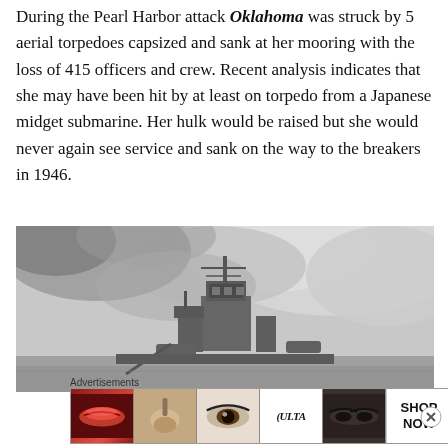During the Pearl Harbor attack Oklahoma was struck by 5 aerial torpedoes capsized and sank at her mooring with the loss of 415 officers and crew. Recent analysis indicates that she may have been hit by at least on torpedo from a Japanese midget submarine. Her hulk would be raised but she would never again see service and sank on the way to the breakers in 1946.
[Figure (photo): Black and white photograph showing the superstructure/mast of the USS Oklahoma battleship with large smoke clouds in the background during the Pearl Harbor attack.]
Advertisements
[Figure (photo): Advertisement banner showing cosmetics/beauty product images including lips with red lipstick, a makeup brush, an eye with mascara, Ulta Beauty logo, a woman's eyes, and a 'SHOP NOW' call to action.]